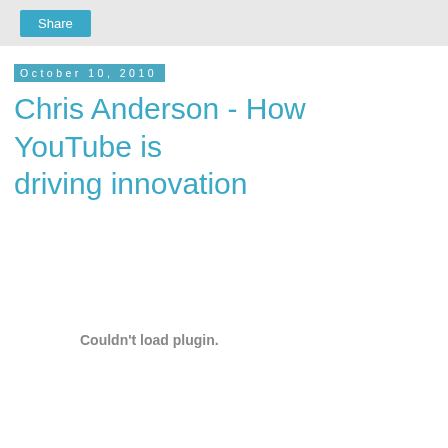Share
October 10, 2010
Chris Anderson - How YouTube is driving innovation
Couldn't load plugin.